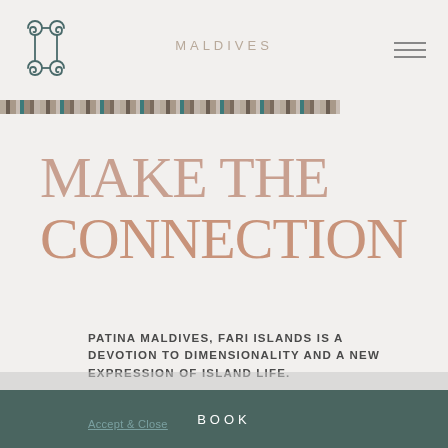[Figure (logo): Patina Hotels & Resorts spiral/knot logo mark in dark teal]
MALDIVES
[Figure (illustration): Decorative horizontal strip with woven texture pattern in earth tones and teal]
MAKE THE CONNECTION
PATINA MALDIVES, FARI ISLANDS IS A DEVOTION TO DIMENSIONALITY AND A NEW EXPRESSION OF ISLAND LIFE.
You create the flow that makes the island your own.
BOOK
Our website uses cookies to help improve your experience of our website. See full cookie policy details. You may block cookies not necessary for website to function, or continue to use our website normally without changing your settings.
Accept & Close
BOOK